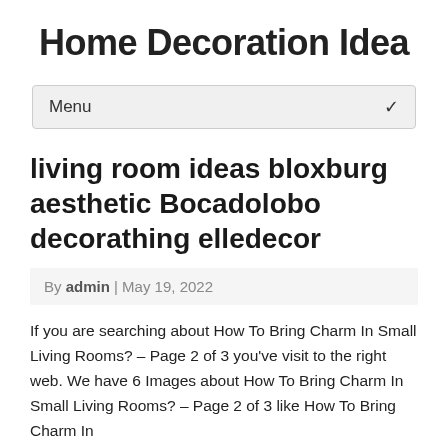Home Decoration Idea
Menu
living room ideas bloxburg aesthetic Bocadolobo decorathing elledecor
By admin | May 19, 2022
If you are searching about How To Bring Charm In Small Living Rooms? – Page 2 of 3 you've visit to the right web. We have 6 Images about How To Bring Charm In Small Living Rooms? – Page 2 of 3 like How To Bring Charm In